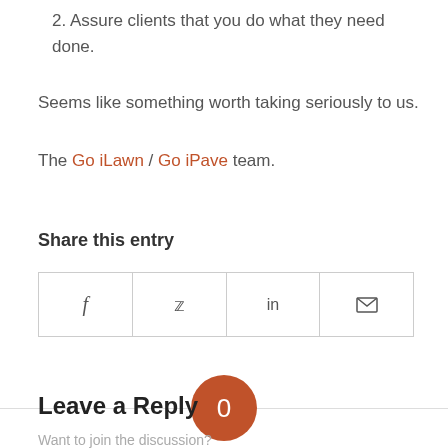2. Assure clients that you do what they need done.
Seems like something worth taking seriously to us.
The Go iLawn / Go iPave team.
Share this entry
[Figure (other): Social share buttons row with Facebook, Twitter, LinkedIn, and email icons in bordered grid cells]
[Figure (infographic): Orange circle badge showing '0' with 'REPLIES' label below, centered on a horizontal divider line]
Leave a Reply
Want to join the discussion?